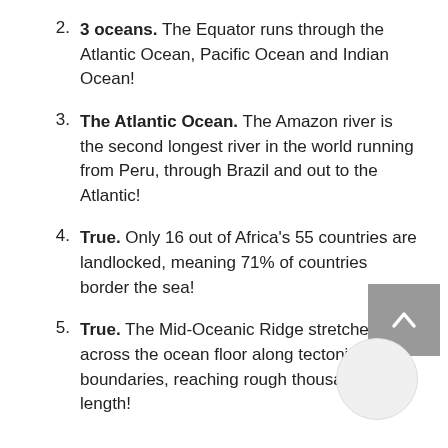2. 3 oceans. The Equator runs through the Atlantic Ocean, Pacific Ocean and Indian Ocean!
3. The Atlantic Ocean. The Amazon river is the second longest river in the world running from Peru, through Brazil and out to the Atlantic!
4. True. Only 16 out of Africa's 55 countries are landlocked, meaning 71% of countries border the sea!
5. True. The Mid-Oceanic Ridge stretches all across the ocean floor along tectonic plate boundaries, reaching roughly thousand km in length!